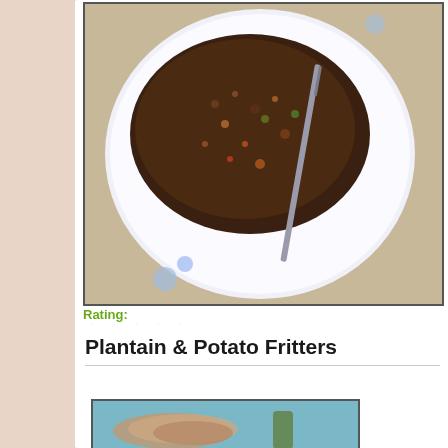[Figure (photo): Top-down photo of a white plate with blue flower pattern containing dark spiced grain or lentil dish with vegetables and a knife on a lace tablecloth]
Rating:
[Figure (other): 5 yellow star rating icons]
Read more
Log in
or to post comments
register
Plantain & Potato Fritters
[Figure (photo): Photo of plantain and potato fritters dish, partially visible at bottom of page]